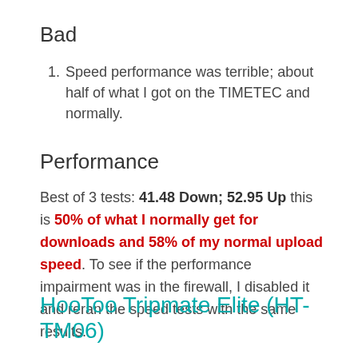Bad
Speed performance was terrible; about half of what I got on the TIMETEC and normally.
Performance
Best of 3 tests: 41.48 Down; 52.95 Up this is 50% of what I normally get for downloads and 58% of my normal upload speed. To see if the performance impairment was in the firewall, I disabled it and reran the speed tests with the same results.
HooToo Tripmate Elite (HT-TM06)